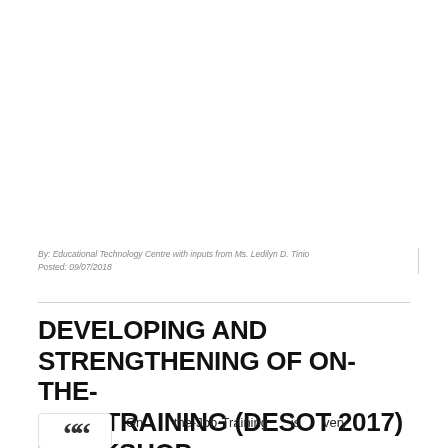[Figure (photo): Blank/white image placeholder area at the top of the page]
By: Educational Technology Centre with inputs from Ms. Ledilyn D. Tinio
Posted: 09/07/2018
DEVELOPING AND STRENGTHENING OF ON-THE-JOB TRAINING (DESOT 2017) WORKSHOP
On the-Job-Training is very